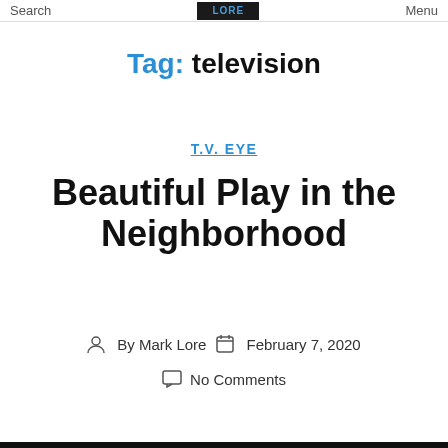Search  LORE  Menu
Tag: television
T.V. EYE
Beautiful Play in the Neighborhood
By Mark Lore  February 7, 2020  No Comments